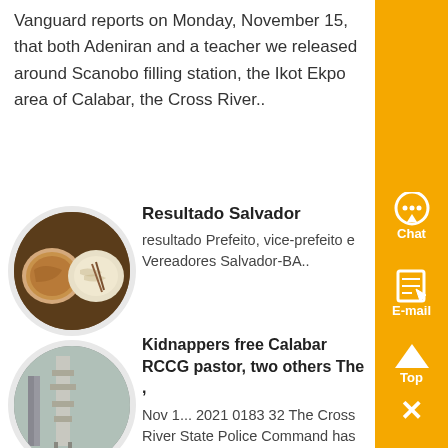Vanguard reports on Monday, November 15, that both Adeniran and a teacher we released around Scanobo filling station, the Ikot Ekpo area of Calabar, the Cross River..
Resultado Salvador
[Figure (photo): Oval-framed photo of two plates of food on a dark wooden table]
resultado Prefeito, vice-prefeito e Vereadoras Salvador-BA..
[Figure (photo): Oval-framed photo of industrial equipment or machinery outdoors]
Kidnappers free Calabar RCCG pastor, two others The ,
Nov 1... 2021 0183 32 The Cross River State Police Command has confirmed the release of kidnapped Redeemed Christian Church of God pastor and two others ...
[Figure (infographic): Right sidebar with yellow/orange background containing Chat, E-mail, Top and close button widgets]